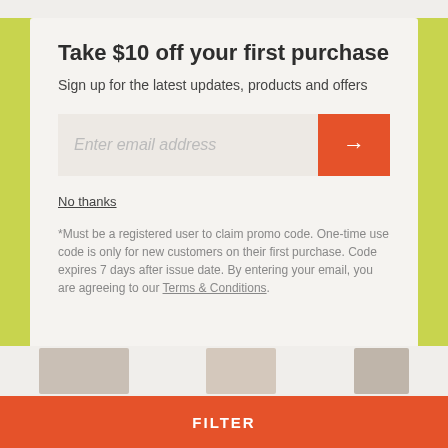Take $10 off your first purchase
Sign up for the latest updates, products and offers
[Figure (screenshot): Email input field with placeholder text 'Enter email address' and an orange submit button with a right arrow icon]
No thanks
*Must be a registered user to claim promo code. One-time use code is only for new customers on their first purchase. Code expires 7 days after issue date. By entering your email, you are agreeing to our Terms & Conditions.
FILTER